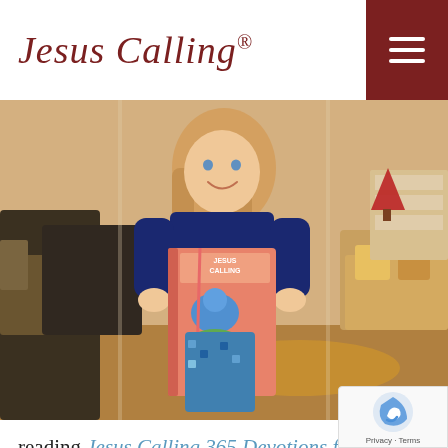Jesus Calling®
[Figure (photo): Young blonde girl smiling and holding up a salmon/coral colored Jesus Calling 365 Devotions for Kids book with a blue bird on the cover, standing in a living room with holiday decorations including a small red Christmas tree in the background.]
reading Jesus Calling 365 Devotions for Kids. The Scripture is second Corinthians